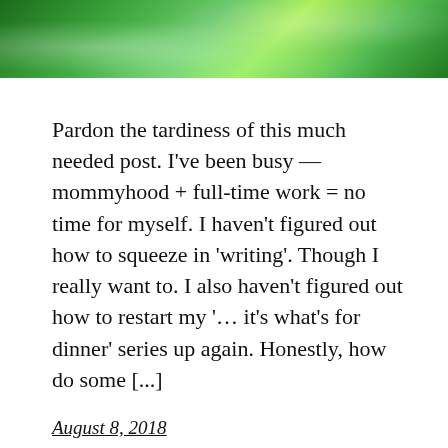[Figure (photo): Top portion of a photo showing green fluffy/feathery decorations or costume elements, predominantly bright green colors]
Pardon the tardiness of this much needed post. I've been busy — mommyhood + full-time work = no time for myself. I haven't figured out how to squeeze in 'writing'. Though I really want to. I also haven't figured out how to restart my '… it's what's for dinner' series up again. Honestly, how do some [...]
August 8, 2018